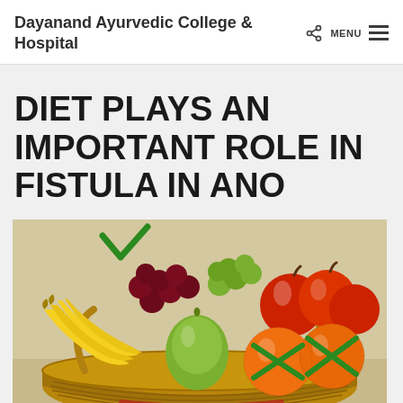Dayanand Ayurvedic College & Hospital
DIET PLAYS AN IMPORTANT ROLE IN FISTULA IN ANO
[Figure (photo): A wicker basket filled with assorted fruits including bananas, grapes (red and green), apples, a green pear, and oranges. Two of the oranges have green X marks drawn on them, and a green checkmark/V is visible in the upper left of the image.]